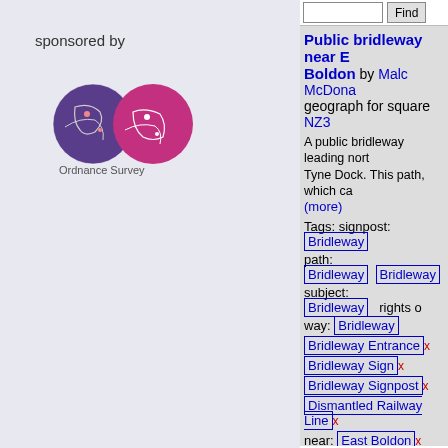sponsored by
[Figure (logo): Ordnance Survey logo with purple/pink circular map emblem and 'Ordnance Survey' text]
Find (search button)
Public bridleway near East Boldon by Malc McDonald, geograph for square NZ3
A public bridleway leading north towards Tyne Dock. This path, which ca... (more)
Tags: signpost: Bridleway
path: Bridleway Bridleway
subject: Bridleway  rights of way:
Bridleway
Bridleway Entrance x
Bridleway Sign x
Bridleway Signpost x
Dismantled Railway Line x
near: East Boldon x
Former Railway Route x
Former Railway Track Bed x
Former Railway Walk x
[Figure (photo): Photo of a public bridleway entrance with wooden gate, signpost, trees in background, green path leading through open landscape]